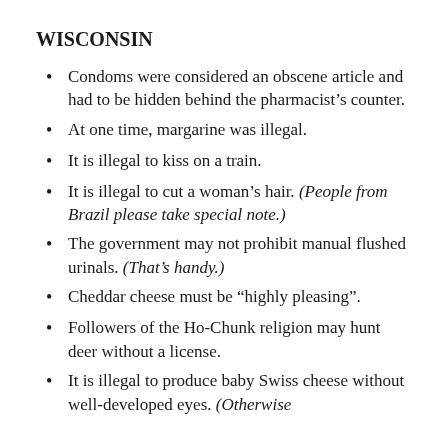WISCONSIN
Condoms were considered an obscene article and had to be hidden behind the pharmacist's counter.
At one time, margarine was illegal.
It is illegal to kiss on a train.
It is illegal to cut a woman's hair. (People from Brazil please take special note.)
The government may not prohibit manual flushed urinals. (That's handy.)
Cheddar cheese must be “highly pleasing”.
Followers of the Ho-Chunk religion may hunt deer without a license.
It is illegal to produce baby Swiss cheese without well-developed eyes. (Otherwise